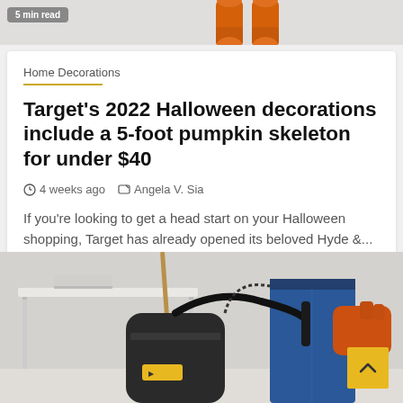[Figure (photo): Top strip showing skeleton legs in orange and a '5 min read' badge on grey background]
Home Decorations
Target's 2022 Halloween decorations include a 5-foot pumpkin skeleton for under $40
4 weeks ago   Angela V. Sia
If you're looking to get a head start on your Halloween shopping, Target has already opened its beloved Hyde &...
[Figure (photo): Worker in blue pants and orange gloves using a vacuum cleaner, with a table and broom visible in the background. Yellow scroll-to-top button in bottom right.]